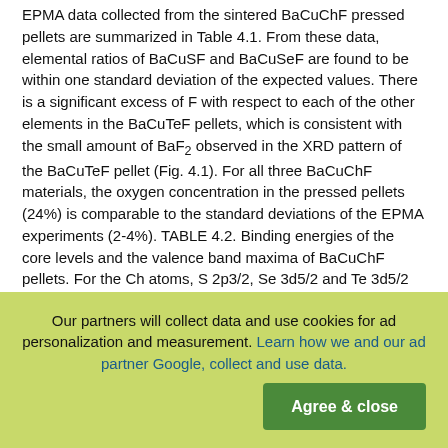EPMA data collected from the sintered BaCuChF pressed pellets are summarized in Table 4.1. From these data, elemental ratios of BaCuSF and BaCuSeF are found to be within one standard deviation of the expected values. There is a significant excess of F with respect to each of the other elements in the BaCuTeF pellets, which is consistent with the small amount of BaF2 observed in the XRD pattern of the BaCuTeF pellet (Fig. 4.1). For all three BaCuChF materials, the oxygen concentration in the pressed pellets (24%) is comparable to the standard deviations of the EPMA experiments (2-4%). TABLE 4.2. Binding energies of the core levels and the valence band maxima of BaCuChF pellets. For the Ch atoms, S 2p3/2, Se 3d5/2 and Te 3d5/2 binding energies are reported. BE (eV) Ba 3d5/2 Cu 2p3/2 Ch F 1s VBM
BaCuSF 779.88 932.53 161.15 684.08 0.30
BaCuSeF 779.86 932.50 53.51 684.11 0.20
BaCuTeF 780.03 932.80 572.11 684.14 0.10
Our partners will collect data and use cookies for ad personalization and measurement. Learn how we and our ad partner Google, collect and use data.